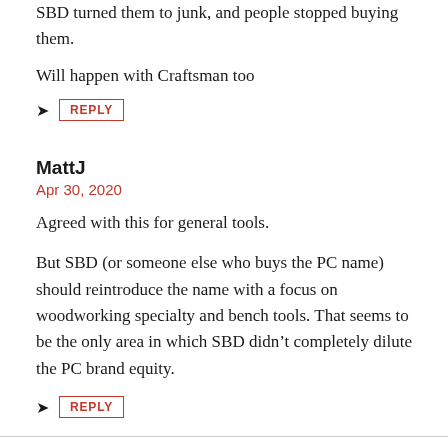SBD turned them to junk, and people stopped buying them.
Will happen with Craftsman too
REPLY
MattJ
Apr 30, 2020
Agreed with this for general tools.
But SBD (or someone else who buys the PC name) should reintroduce the name with a focus on woodworking specialty and bench tools. That seems to be the only area in which SBD didn't completely dilute the PC brand equity.
REPLY
Lee